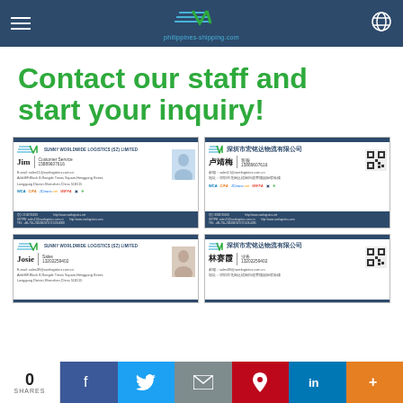philippines-shipping.com
Contact our staff and start your inquiry!
[Figure (illustration): Business card for Jim, Customer Service, SUNNY WORLDWIDE LOGISTICS (SZ) LIMITED, phone 15889607616]
[Figure (illustration): Business card (Chinese) for 卢靖梅, 客服, 深圳市宏铭达物流有限公司, phone 15889607616]
[Figure (illustration): Business card for Josie, Sales, SUNNY WORLDWIDE LOGISTICS (SZ) LIMITED, phone 13202259402]
[Figure (illustration): Business card (Chinese) for 林赛霞, 业务, 深圳市宏铭达物流有限公司, phone 13202259402]
0 SHARES | Facebook | Twitter | Email | Pinterest | LinkedIn | More